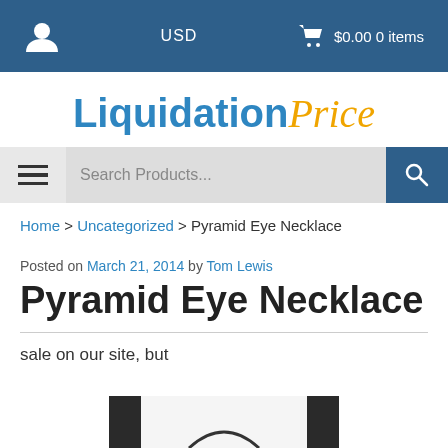USD  $0.00 0 items
LiquidationPrice
Search Products...
Home > Uncategorized > Pyramid Eye Necklace
Posted on March 21, 2014 by Tom Lewis
Pyramid Eye Necklace
sale on our site, but
[Figure (photo): Partial bottom image of a necklace product]